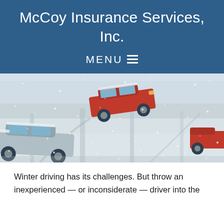McCoy Insurance Services, Inc.
MENU
[Figure (photo): Aerial view of cars on a snow-covered road during a blizzard, with a red car and a silver car visible on icy, snowy road surface]
Winter driving has its challenges. But throw an inexperienced — or inconsiderate — driver into the